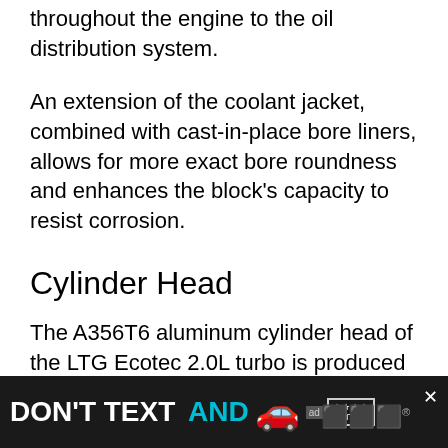throughout the engine to the oil distribution system.
An extension of the coolant jacket, combined with cast-in-place bore liners, allows for more exact bore roundness and enhances the block’s capacity to resist corrosion.
Cylinder Head
The A356T6 aluminum cylinder head of the LTG Ecotec 2.0L turbo is produced utilizing a Rotocast technique for high strength, less machining, and better port flow. The supercharged Corvette ZR1’s LS9 cylinder heads are cast using a similar procedure.
[Figure (infographic): NHTSA advertisement banner: 'DON'T TEXT AND [car emoji]' with ad badge and NHTSA stars rating logo on dark background, with a close (X) button.]